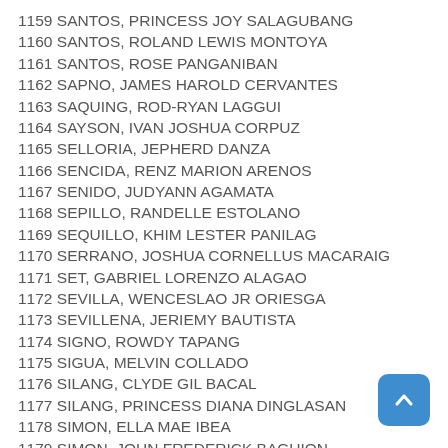1159 SANTOS, PRINCESS JOY SALAGUBANG
1160 SANTOS, ROLAND LEWIS MONTOYA
1161 SANTOS, ROSE PANGANIBAN
1162 SAPNO, JAMES HAROLD CERVANTES
1163 SAQUING, ROD-RYAN LAGGUI
1164 SAYSON, IVAN JOSHUA CORPUZ
1165 SELLORIA, JEPHERD DANZA
1166 SENCIDA, RENZ MARION ARENOS
1167 SENIDO, JUDYANN AGAMATA
1168 SEPILLO, RANDELLE ESTOLANO
1169 SEQUILLO, KHIM LESTER PANILAG
1170 SERRANO, JOSHUA CORNELLUS MACARAIG
1171 SET, GABRIEL LORENZO ALAGAO
1172 SEVILLA, WENCESLAO JR ORIESGA
1173 SEVILLENA, JERIEMY BAUTISTA
1174 SIGNO, ROWDY TAPANG
1175 SIGUA, MELVIN COLLADO
1176 SILANG, CLYDE GIL BACAL
1177 SILANG, PRINCESS DIANA DINGLASAN
1178 SIMON, ELLA MAE IBEA
1179 SIMON, JOHN FREDERICK BAGUION